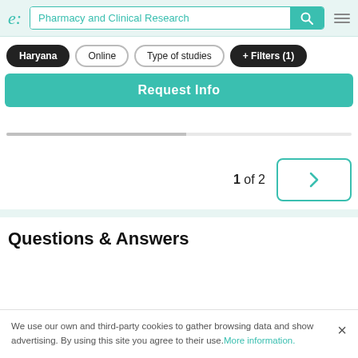e: | Pharmacy and Clinical Research [search bar] [hamburger menu]
Haryana  Online  Type of studies  + Filters (1)
Request Info
1 of 2 [next button]
Questions & Answers
We use our own and third-party cookies to gather browsing data and show advertising. By using this site you agree to their use. More information.